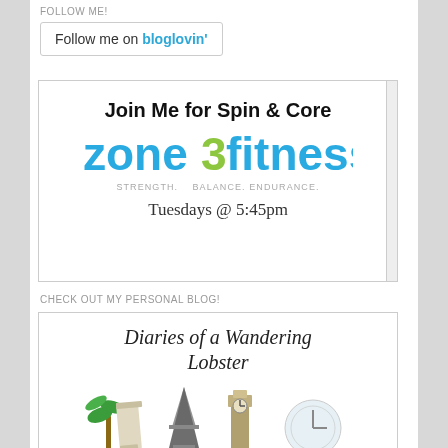FOLLOW ME!
Follow me on bloglovin'
[Figure (illustration): Zone 3 Fitness advertisement box with text 'Join Me for Spin & Core', Zone3Fitness logo in blue and green, tagline 'STRENGTH. BALANCE. ENDURANCE.', and 'Tuesdays @ 5:45pm']
CHECK OUT MY PERSONAL BLOG!
[Figure (illustration): Diaries of a Wandering Lobster blog banner with italic title text and travel landmark illustrations including Eiffel Tower, Big Ben, Leaning Tower of Pisa, palm tree]